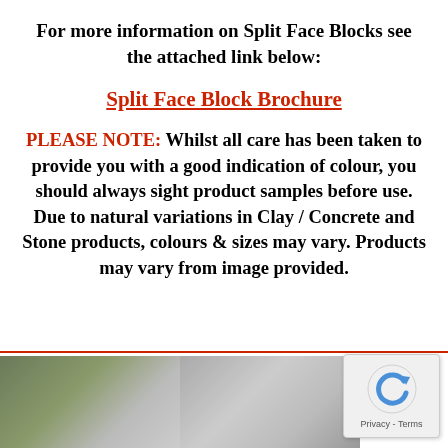For more information on Split Face Blocks see the attached link below:
Split Face Block Brochure
PLEASE NOTE: Whilst all care has been taken to provide you with a good indication of colour, you should always sight product samples before use. Due to natural variations in Clay / Concrete and Stone products, colours & sizes may vary. Products may vary from image provided.
[Figure (photo): Two photos at the bottom of the page showing building materials / split face block products]
[Figure (other): reCAPTCHA widget showing circular arrows icon with Privacy - Terms text]